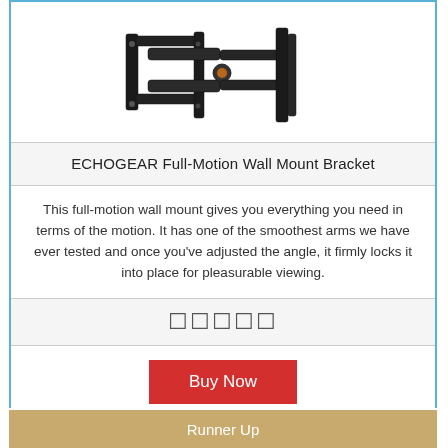[Figure (photo): ECHOGEAR Full-Motion Wall Mount Bracket product photo — black metal articulating arm bracket shown at an angle]
ECHOGEAR Full-Motion Wall Mount Bracket
This full-motion wall mount gives you everything you need in terms of the motion. It has one of the smoothest arms we have ever tested and once you've adjusted the angle, it firmly locks it into place for pleasurable viewing.
☐☐☐☐☐
Buy Now
Runner Up